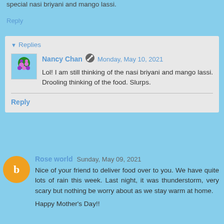special nasi briyani and mango lassi.
Reply
Replies
Nancy Chan  Monday, May 10, 2021
Lol! I am still thinking of the nasi briyani and mango lassi. Drooling thinking of the food. Slurps.
Reply
Rose world  Sunday, May 09, 2021
Nice of your friend to deliver food over to you. We have quite lots of rain this week. Last night, it was thunderstorm, very scary but nothing be worry about as we stay warm at home.

Happy Mother's Day!!